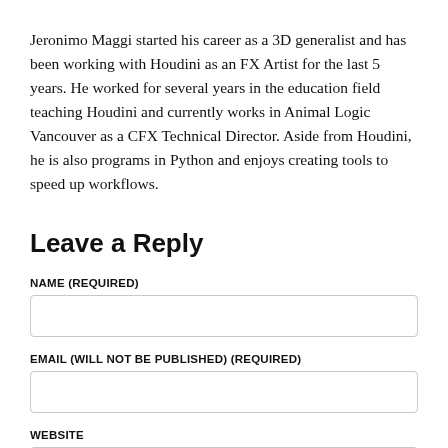Jeronimo Maggi started his career as a 3D generalist and has been working with Houdini as an FX Artist for the last 5 years. He worked for several years in the education field teaching Houdini and currently works in Animal Logic Vancouver as a CFX Technical Director. Aside from Houdini, he is also programs in Python and enjoys creating tools to speed up workflows.
Leave a Reply
NAME (REQUIRED)
EMAIL (WILL NOT BE PUBLISHED) (REQUIRED)
WEBSITE